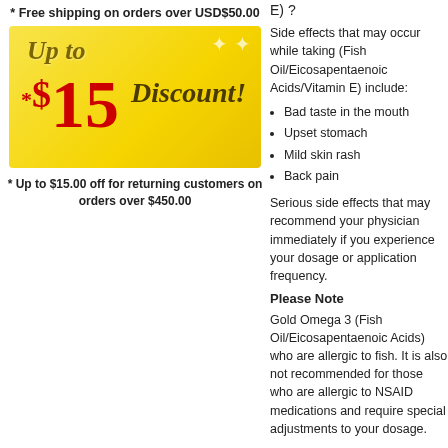* Free shipping on orders over USD$50.00
[Figure (illustration): Yellow gradient banner with 'Up to *$15 Discount!' promotional text in dark red and brown on a gold/yellow background]
* Up to $15.00 off for returning customers on orders over $450.00
E) ?
Side effects that may occur while taking (Fish Oil/Eicosapentaenoic Acids/Vitamin E) include:
Bad taste in the mouth
Upset stomach
Mild skin rash
Back pain
Serious side effects that may require you to contact your physician immediately if you experience changes to your dosage or application frequency.
Please Note
Gold Omega 3 (Fish Oil/Eicosapentaenoic Acids) who are allergic to fish. It is also not recommended for those who are allergic to NSAID medications. Some medical conditions may require special adjustments to your dosage.
Strictly follow all instructions provided. Eicosapentaenoic Acid/Docosahexaenoic Acid/Omega-3 Fatty Acids for the condition being treated.
As this medication may be unsafe during pregnancy or breastfeeding, as well as if you have been taking any type of medication, supplements, or herbal products.
Immediately seek emergency medical attention if you notice hives, swelling, skin rashes, chest tightness, or difficulty breathing.